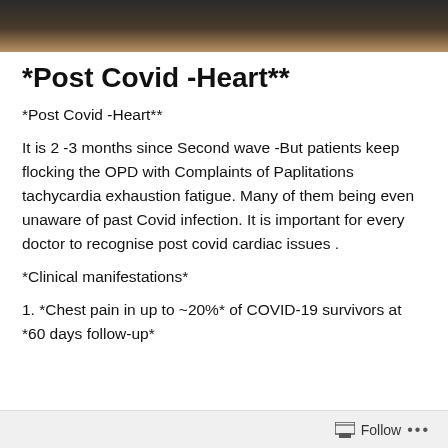[Figure (photo): A dark photograph banner at the top of the page, showing a partially visible scene in dark brown and grey tones.]
*Post Covid -Heart**
*Post Covid -Heart**
It is 2 -3 months since Second wave -But patients keep flocking the OPD with Complaints of Paplitations tachycardia exhaustion fatigue. Many of them being even unaware of past Covid infection. It is important for every doctor to recognise post covid cardiac issues .
*Clinical manifestations*
1. *Chest pain in up to ~20%* of COVID-19 survivors at *60 days follow-up*
Follow ...